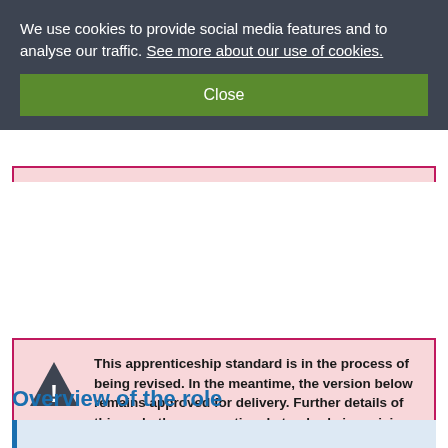We use cookies to provide social media features and to analyse our traffic. See more about our use of cookies.
Close
This apprenticeship standard is in the process of being revised. In the meantime, the version below remains approved for delivery. Further details of this and other occupational standards in revision are available in the revisions status report.
Overview of the role